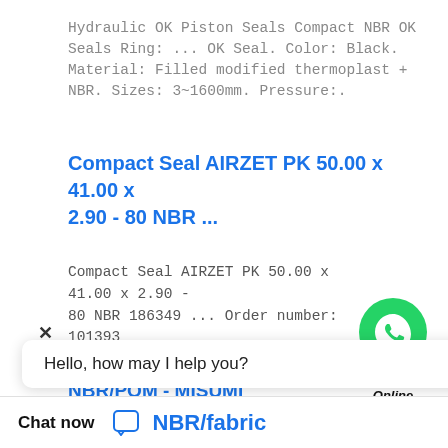Hydraulic OK Piston Seals Compact NBR OK Seals Ring: ... OK Seal. Color: Black. Material: Filled modified thermoplast + NBR. Sizes: 3~1600mm. Pressure:.
Compact Seal AIRZET PK 50.00 x 41.00 x 2.90 - 80 NBR ...
Compact Seal AIRZET PK 50.00 x 41.00 x 2.90 - 80 NBR 186349 ... Order number: 1013932 Label: Kompaktdichtung; Design: AIRZET Material: 80 NBR 186349 ...
[Figure (logo): WhatsApp green phone icon with text 'WhatsApp Online']
Compact Seal, Piston, PTFE-bronze, NBR/POM - MISUMI
Compact Seal. Piston. PTFE-bronze, NBR/POM Order in many variants op ► Free CAD data ✓
Hello, how may I help you?
Chat now  NBR/fabric